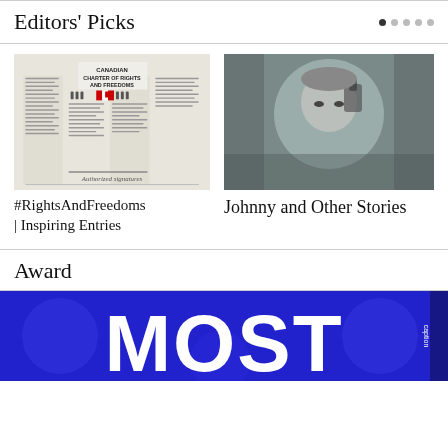Editors' Picks
[Figure (photo): Canadian Charter of Rights and Freedoms document image]
#RightsAndFreedoms | Inspiring Entries
[Figure (photo): Black and white photo of a person holding something to their face]
Johnny and Other Stories
Award
[Figure (photo): Blue background with large white text reading MOST]